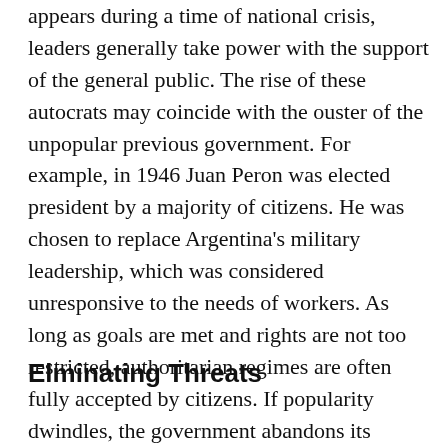appears during a time of national crisis, leaders generally take power with the support of the general public. The rise of these autocrats may coincide with the ouster of the unpopular previous government. For example, in 1946 Juan Peron was elected president by a majority of citizens. He was chosen to replace Argentina's military leadership, which was considered unresponsive to the needs of workers. As long as goals are met and rights are not too restricted, authoritarian regimes are often fully accepted by citizens. If popularity dwindles, the government abandons its previous goals and becomes focused on staying in power.
Elminating Threats
...